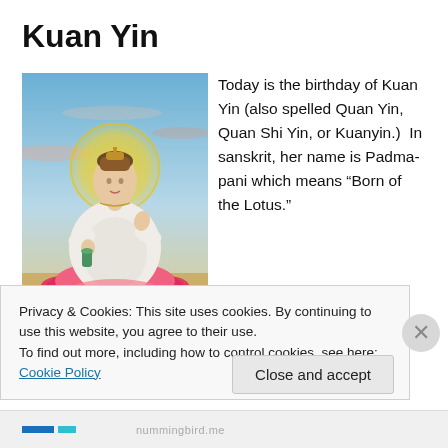Kuan Yin
[Figure (illustration): Painting of Kuan Yin seated on a red lotus flower with a golden halo, dressed in white robes, holding a small green vase, with a colorful sky background.]
Today is the birthday of Kuan Yin (also spelled Quan Yin, Quan Shi Yin, or Kuanyin.)  In sanskrit, her name is Padma-pani which means “Born of the Lotus.”
Kuan Yin is regarded by the Chinese as the Goddess of Mercy.  Kuan Yin was
Privacy & Cookies: This site uses cookies. By continuing to use this website, you agree to their use.
To find out more, including how to control cookies, see here: Cookie Policy
Close and accept